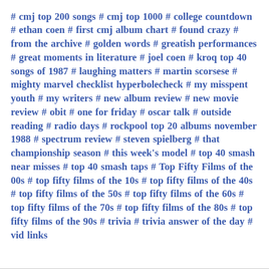# cmj top 200 songs # cmj top 1000 # college countdown # ethan coen # first cmj album chart # found crazy # from the archive # golden words # greatish performances # great moments in literature # joel coen # kroq top 40 songs of 1987 # laughing matters # martin scorsese # mighty marvel checklist hyperbolecheck # my misspent youth # my writers # new album review # new movie review # obit # one for friday # oscar talk # outside reading # radio days # rockpool top 20 albums november 1988 # spectrum review # steven spielberg # that championship season # this week's model # top 40 smash near misses # top 40 smash taps # Top Fifty Films of the 00s # top fifty films of the 10s # top fifty films of the 40s # top fifty films of the 50s # top fifty films of the 60s # top fifty films of the 70s # top fifty films of the 80s # top fifty films of the 90s # trivia # trivia answer of the day # vid links